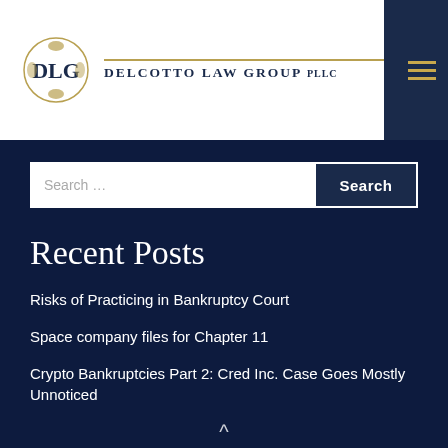[Figure (logo): DelCotto Law Group PLLC logo with DLG emblem and gold divider line]
Search ...
Recent Posts
Risks of Practicing in Bankruptcy Court
Space company files for Chapter 11
Crypto Bankruptcies Part 2: Cred Inc. Case Goes Mostly Unnoticed